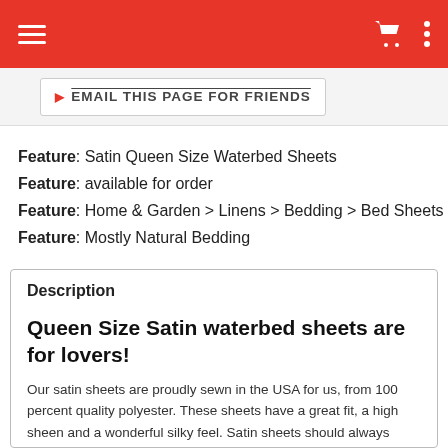Navigation bar with hamburger menu, cart icon, and options icon
[Figure (screenshot): Partial button labeled 'EMAIL THIS PAGE FOR FRIENDS' with a play icon]
Feature: Satin Queen Size Waterbed Sheets
Feature: available for order
Feature: Home & Garden > Linens > Bedding > Bed Sheets
Feature: Mostly Natural Bedding
Description
Queen Size Satin waterbed sheets are for lovers!
Our satin sheets are proudly sewn in the USA for us, from 100 percent quality polyester. These sheets have a great fit, a high sheen and a wonderful silky feel. Satin sheets should always have a quilted mattress pad underneath. Available in seven colors.
Our satin waterbed sheets are sewn together at the foot. We do this to help keep the top sheet in place. Satin is so smooth that top sheets, especially on a waterbed, tend to migrate unless they are